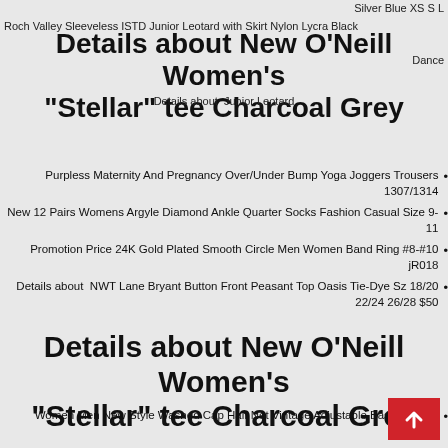Silver Blue XS S L
Roch Valley Sleeveless ISTD Junior Leotard with Skirt Nylon Lycra Black
Details about  New O'Neill Women's "Stellar" tee Charcoal Grey
Details about  Junior Leotard
Dance
Purpless Maternity And Pregnancy Over/Under Bump Yoga Joggers Trousers 1307/1314
New 12 Pairs Womens Argyle Diamond Ankle Quarter Socks Fashion Casual Size 9-11
Promotion Price 24K Gold Plated Smooth Circle Men Women Band Ring #8-#10 jR018
Details about  NWT Lane Bryant Button Front Peasant Top Oasis Tie-Dye Sz 18/20 22/24 26/28 $50
Details about  New O'Neill Women's "Stellar" tee Charcoal Grey
Women Men New Style Washed Cap Half Net Vintage Adjustable Baseball Cap Unise...
Black Velvet Chunky Collar Necklace Women Choker Bib Stateme...